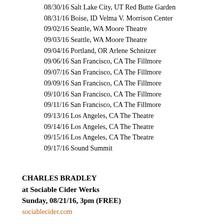08/30/16 Salt Lake City, UT Red Butte Garden
08/31/16 Boise, ID Velma V. Morrison Center
09/02/16 Seattle, WA Moore Theatre
09/03/16 Seattle, WA Moore Theatre
09/04/16 Portland, OR Arlene Schnitzer
09/06/16 San Francisco, CA The Fillmore
09/07/16 San Francisco, CA The Fillmore
09/09/16 San Francisco, CA The Fillmore
09/10/16 San Francisco, CA The Fillmore
09/11/16 San Francisco, CA The Fillmore
09/13/16 Los Angeles, CA The Theatre
09/14/16 Los Angeles, CA The Theatre
09/15/16 Los Angeles, CA The Theatre
09/17/16 Sound Summit
CHARLES BRADLEY
at Sociable Cider Werks
Sunday, 08/21/16, 3pm (FREE)
sociablecider.com